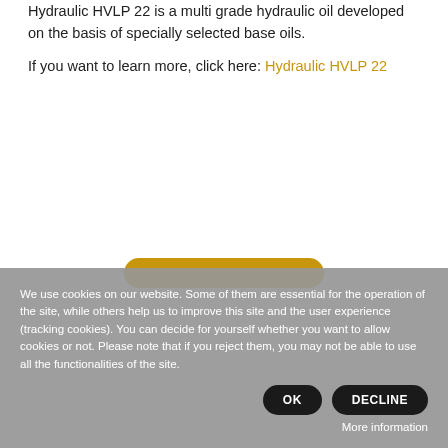Hydraulic HVLP 22 is a multi grade hydraulic oil developed on the basis of specially selected base oils.
If you want to learn more, click here: Hydraulic HVLP 22
[Figure (other): Partial view of a golden/amber rounded rectangular button or bar element, partially obscured by the cookie consent banner.]
We use cookies on our website. Some of them are essential for the operation of the site, while others help us to improve this site and the user experience (tracking cookies). You can decide for yourself whether you want to allow cookies or not. Please note that if you reject them, you may not be able to use all the functionalities of the site.
OK
DECLINE
More information